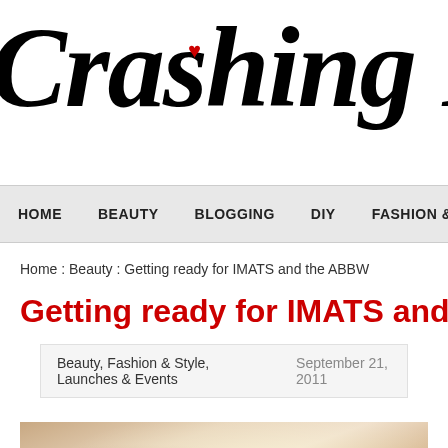Crashing Re...
HOME | BEAUTY | BLOGGING | DIY | FASHION &...
Home : Beauty : Getting ready for IMATS and the ABBW
Getting ready for IMATS and the A...
Beauty, Fashion & Style, Launches & Events   September 21, 2011
[Figure (photo): Cropped photo showing softly lit fabric or product in warm beige/cream tones]